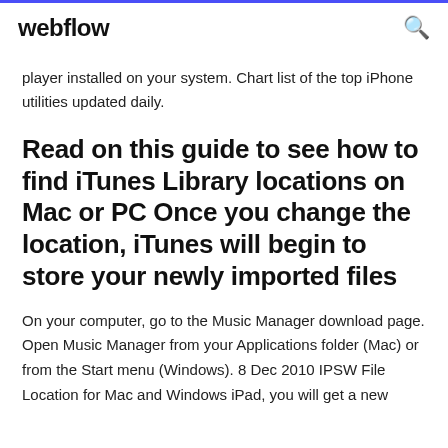webflow
player installed on your system. Chart list of the top iPhone utilities updated daily.
Read on this guide to see how to find iTunes Library locations on Mac or PC Once you change the location, iTunes will begin to store your newly imported files
On your computer, go to the Music Manager download page. Open Music Manager from your Applications folder (Mac) or from the Start menu (Windows). 8 Dec 2010 IPSW File Location for Mac and Windows iPad, you will get a new